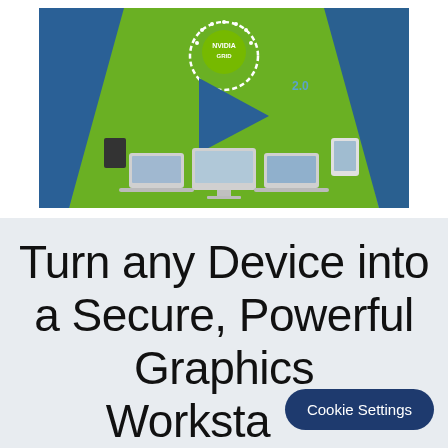[Figure (screenshot): NVIDIA GRID promotional banner image showing laptops, desktop computers, and other devices arranged around a large blue play button on a green background with blue geometric shapes. The NVIDIA GRID logo appears at the top center in a dashed white circle.]
Turn any Device into a Secure, Powerful Graphics Workstation
Cookie Settings